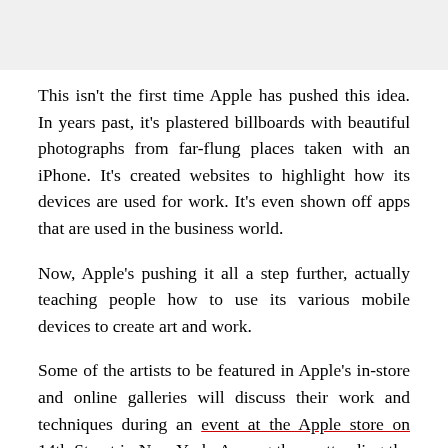[Figure (photo): Partial image at top of page, gray/light background, cropped]
This isn't the first time Apple has pushed this idea. In years past, it's plastered billboards with beautiful photographs from far-flung places taken with an iPhone. It's created websites to highlight how its devices are used for work. It's even shown off apps that are used in the business world.
Now, Apple's pushing it all a step further, actually teaching people how to use its various mobile devices to create art and work.
Some of the artists to be featured in Apple's in-store and online galleries will discuss their work and techniques during an event at the Apple store on 14th Street in New York. Among those attending the New York event is Bernhard Lang, a photographer who uses an iPhone 6S Plus to capture landscape images from a helicopter thousands of feet in the air. He then edits the images in Adobe Photoshop Express for